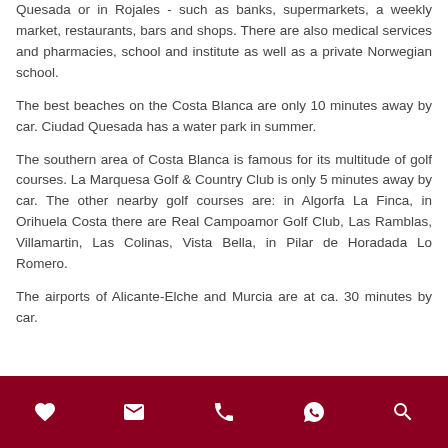Quesada or in Rojales - such as banks, supermarkets, a weekly market, restaurants, bars and shops. There are also medical services and pharmacies, school and institute as well as a private Norwegian school.
The best beaches on the Costa Blanca are only 10 minutes away by car. Ciudad Quesada has a water park in summer.
The southern area of Costa Blanca is famous for its multitude of golf courses. La Marquesa Golf & Country Club is only 5 minutes away by car. The other nearby golf courses are: in Algorfa La Finca, in Orihuela Costa there are Real Campoamor Golf Club, Las Ramblas, Villamartin, Las Colinas, Vista Bella, in Pilar de Horadada Lo Romero.
The airports of Alicante-Elche and Murcia are at ca. 30 minutes by car.
[icons: heart, email, phone, whatsapp, search]